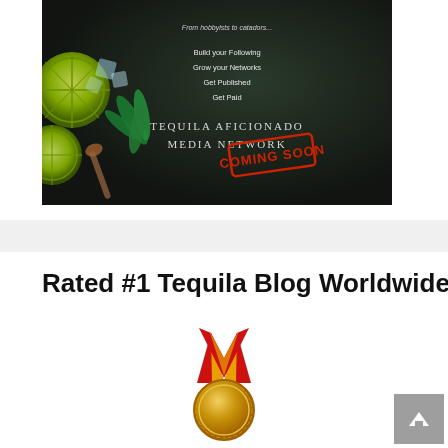[Figure (illustration): Promotional banner for Tequila Aficionado Media Network on a dark background with limes, mint, and ice. Text reads 'From hobbyists to catadors...', 'Build your Following', 'Grow your Networks', 'Get Published', 'Get Paid', 'TEQUILA AFICIONADO MEDIA NETWORK', with a red 'COMING SOON' stamp overlay.]
Rated #1 Tequila Blog Worldwide
[Figure (illustration): Gold award medal with red and gold ribbon, first place medal icon.]